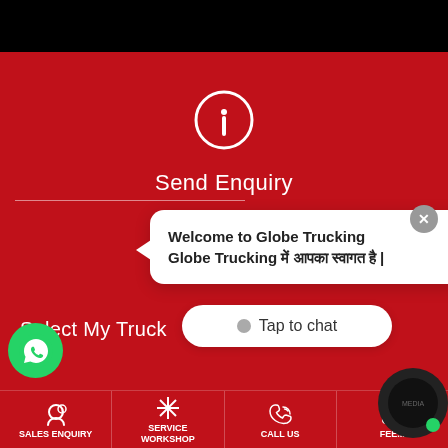[Figure (screenshot): Globe Trucking mobile app screenshot showing a red background with info icon, Send Enquiry heading, a WhatsApp-style chat bubble saying 'Welcome to Globe Trucking / Globe Trucking में आपका स्वागत है |', Select My Truck button, Tap to chat button, and bottom navigation bar with Sales Enquiry, Service Workshop, Call Us, and a fourth partially visible item.]
Send Enquiry
Welcome to Globe Trucking
Globe Trucking में आपका स्वागत है |
Select My Truck
Tap to chat
SALES ENQUIRY
SERVICE WORKSHOP
CALL US